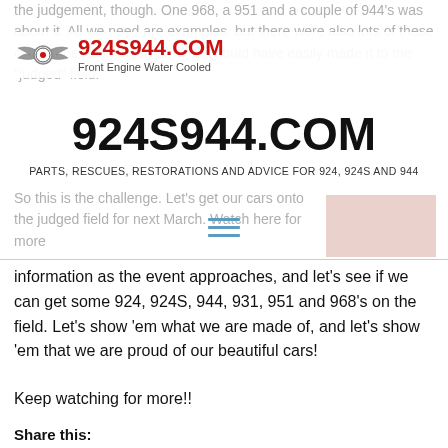the judgement, though. One 968, a 951 and a couple of 944's was about it. All we need are examples, but there were also lots of these cars in the non-judged area that could have easily made it to the "judged" field.
924S944.COM — Front Engine Water Cooled
924S944.COM
PARTS, RESCUES, RESTORATIONS AND ADVICE FOR 924, 924S AND 944
So this is the challenge. Let's get our cars onto the judged field for next March.  Watch here for more
information as the event approaches, and let's see if we can get some 924, 924S, 944, 931, 951 and 968's on the field.  Let's show 'em what we are made of, and let's show 'em that we are proud of our beautiful cars!
Keep watching for more!!
Share this: